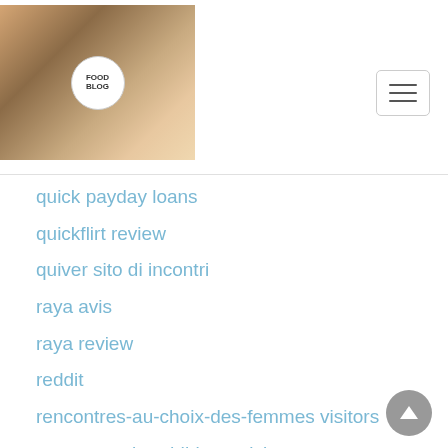[Figure (logo): Website header with logo image showing food/cooking theme with circular emblem and hamburger menu button]
quick payday loans
quickflirt review
quiver sito di incontri
raya avis
raya review
reddit
rencontres-au-choix-des-femmes visitors
rencontres-bouddhistes visitors
rencontres-cocu avis
rencontres-coreen gratuit